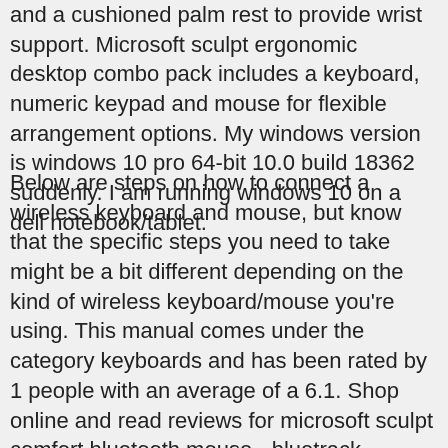and a cushioned palm rest to provide wrist support. Microsoft sculpt ergonomic desktop combo pack includes a keyboard, numeric keypad and mouse for flexible arrangement options. My windows version is windows 10 pro 64-bit 10.0 build 18362 suddenly. I am running windows 10 on a dell notebook/tablet.
Below are steps on how to connect a wireless keyboard and mouse, but know that the specific steps you need to take might be a bit different depending on the kind of wireless keyboard/mouse you're using. This manual comes under the category keyboards and has been rated by 1 people with an average of a 6.1. Shop online and read reviews for microsoft sculpt comfort bluetooth mouse - bluetrack - wireless - 6 button s - black - bluetooth - 1000 dpi . My broken one and you can t program the mouse with any other transmitter so i now have separate transmitters for the keyboard and mouse. Download The Latest Version Of M2 Vs G400 Driver Free.